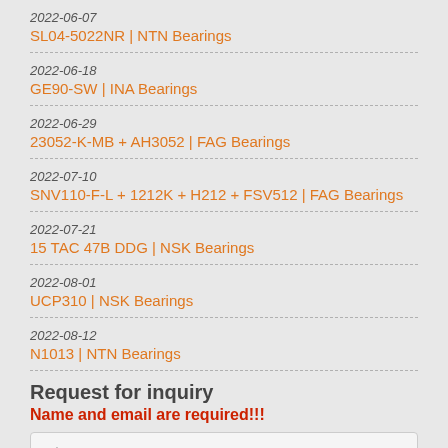2022-06-07
SL04-5022NR | NTN Bearings
2022-06-18
GE90-SW | INA Bearings
2022-06-29
23052-K-MB + AH3052 | FAG Bearings
2022-07-10
SNV110-F-L + 1212K + H212 + FSV512 | FAG Bearings
2022-07-21
15 TAC 47B DDG | NSK Bearings
2022-08-01
UCP310 | NSK Bearings
2022-08-12
N1013 | NTN Bearings
Request for inquiry
Name and email are required!!!
Please enter your name
Please enter the phone number